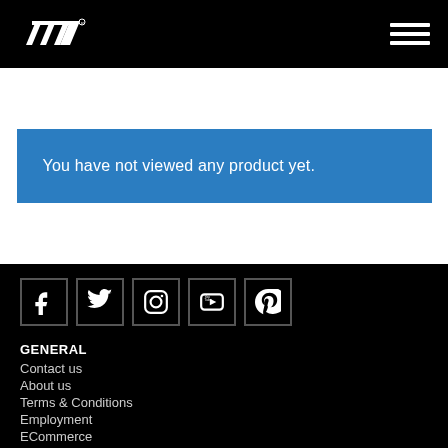[Figure (logo): Elite Screens logo — white stylized 'ES' letterform on black background]
You have not viewed any product yet.
[Figure (infographic): Social media icons in square bordered boxes: Facebook (f), Twitter (bird), Instagram (camera), YouTube (play button with 'You Tube' text), Pinterest (P)]
GENERAL
Contact us
About us
Terms & Conditions
Employment
ECommerce
LINKS